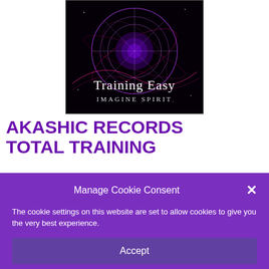[Figure (illustration): Black background image with a purple glowing cosmic/zodiac circular mandala design. Text reads 'Training Easy' in serif font and 'IMAGINE SPIRIT' in spaced uppercase below it.]
AKASHIC RECORDS TOTAL TRAINING
Manage Cookie Consent
The cookie settings on this website are set to allow cookies to give you the very best experience.
Accept